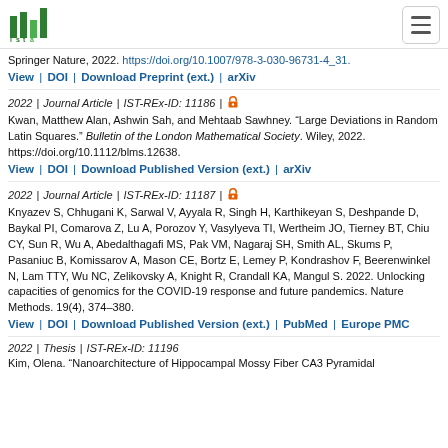ISTA logo and navigation
Springer Nature, 2022. https://doi.org/10.1007/978-3-030-96731-4_31.
View | DOI | Download Preprint (ext.) | arXiv
2022 | Journal Article | IST-REx-ID: 11186 | [open access]
Kwan, Matthew Alan, Ashwin Sah, and Mehtaab Sawhney. “Large Deviations in Random Latin Squares.” Bulletin of the London Mathematical Society. Wiley, 2022. https://doi.org/10.1112/blms.12638.
View | DOI | Download Published Version (ext.) | arXiv
2022 | Journal Article | IST-REx-ID: 11187 | [open access]
Knyazev S, Chhugani K, Sarwal V, Ayyala R, Singh H, Karthikeyan S, Deshpande D, Baykal PI, Comarova Z, Lu A, Porozov Y, Vasylyeva TI, Wertheim JO, Tierney BT, Chiu CY, Sun R, Wu A, Abedalthagafi MS, Pak VM, Nagaraj SH, Smith AL, Skums P, Pasaniuc B, Komissarov A, Mason CE, Bortz E, Lemey P, Kondrashov F, Beerenwinkel N, Lam TTY, Wu NC, Zelikovsky A, Knight R, Crandall KA, Mangul S. 2022. Unlocking capacities of genomics for the COVID-19 response and future pandemics. Nature Methods. 19(4), 374–380.
View | DOI | Download Published Version (ext.) | PubMed | Europe PMC
2022 | Thesis | IST-REx-ID: 11196
Kim, Olena. “Nanoarchitecture of Hippocampal Mossy Fiber CA3 Pyramidal